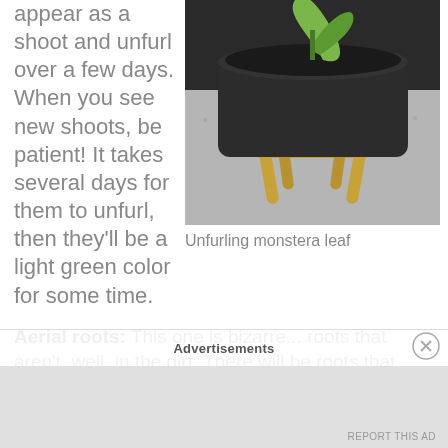appear as a shoot and unfurl over a few days. When you see new shoots, be patient! It takes several days for them to unfurl, then they'll be a light green color for some time.
[Figure (photo): A monstera plant in a dark/black pot on a gold-legged stand, placed on a grey carpet. A green leaf is visible. The stand has cylindrical gold legs.]
Unfurling monstera leaf
Aerial roots: This one is bizarre... roots that aren't, well, in the dirt. There will be roots that don't root into the dirt, but kind of hang in the air. This is for stabilization and these roots reach for water in the jungle. You can stick
Advertisements
REPORT THIS AD